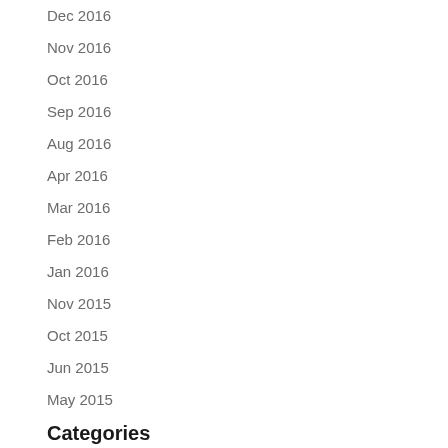Dec 2016
Nov 2016
Oct 2016
Sep 2016
Aug 2016
Apr 2016
Mar 2016
Feb 2016
Jan 2016
Nov 2015
Oct 2015
Jun 2015
May 2015
Categories